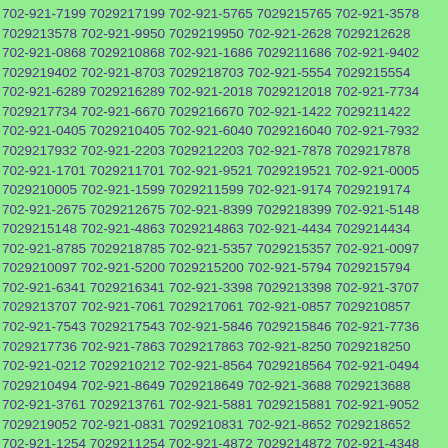702-921-7199 7029217199 702-921-5765 7029215765 702-921-3578 7029213578 702-921-9950 7029219950 702-921-2628 7029212628 702-921-0868 7029210868 702-921-1686 7029211686 702-921-9402 7029219402 702-921-8703 7029218703 702-921-5554 7029215554 702-921-6289 7029216289 702-921-2018 7029212018 702-921-7734 7029217734 702-921-6670 7029216670 702-921-1422 7029211422 702-921-0405 7029210405 702-921-6040 7029216040 702-921-7932 7029217932 702-921-2203 7029212203 702-921-7878 7029217878 702-921-1701 7029211701 702-921-9521 7029219521 702-921-0005 7029210005 702-921-1599 7029211599 702-921-9174 7029219174 702-921-2675 7029212675 702-921-8399 7029218399 702-921-5148 7029215148 702-921-4863 7029214863 702-921-4434 7029214434 702-921-8785 7029218785 702-921-5357 7029215357 702-921-0097 7029210097 702-921-5200 7029215200 702-921-5794 7029215794 702-921-6341 7029216341 702-921-3398 7029213398 702-921-3707 7029213707 702-921-7061 7029217061 702-921-0857 7029210857 702-921-7543 7029217543 702-921-5846 7029215846 702-921-7736 7029217736 702-921-7863 7029217863 702-921-8250 7029218250 702-921-0212 7029210212 702-921-8564 7029218564 702-921-0494 7029210494 702-921-8649 7029218649 702-921-3688 7029213688 702-921-3761 7029213761 702-921-5881 7029215881 702-921-9052 7029219052 702-921-0831 7029210831 702-921-8652 7029218652 702-921-1254 7029211254 702-921-4872 7029214872 702-921-4348 7029214348 702-921-1124 7029211124 702-921-6424 7029216424 702-921-8122 7029218122 702-921-6231 7029216231 702-921-9546 7029219546 702-921-8495 7029218495 702-921-303 7029213...